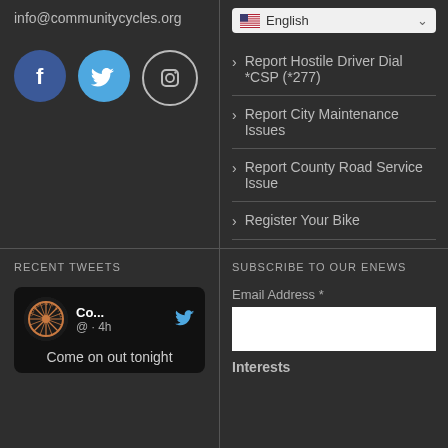info@communitycycles.org
[Figure (illustration): Social media icons: Facebook (blue circle with f), Twitter (light blue circle with bird), Instagram (outlined circle with camera icon)]
Report Hostile Driver Dial *CSP (*277)
Report City Maintenance Issues
Report County Road Service Issue
Register Your Bike
RECENT TWEETS
SUBSCRIBE TO OUR ENEWS
[Figure (screenshot): Tweet card with Community Cycles logo, handle @·4h, text: Come on out tonight]
Email Address *
Interests